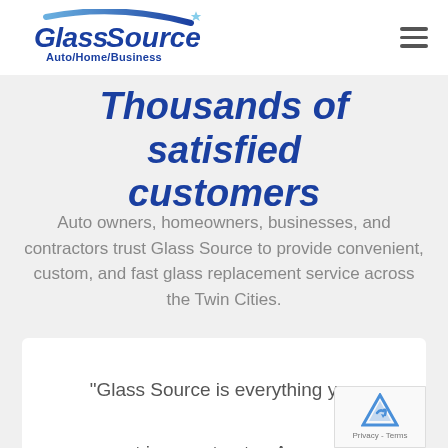[Figure (logo): GlassSource Auto/Home/Business logo with blue swoosh arc and star]
Thousands of satisfied customers
Auto owners, homeowners, businesses, and contractors trust Glass Source to provide convenient, custom, and fast glass replacement service across the Twin Cities.
"Glass Source is everything you want in a contractor. Answers their phone, polite, come on time as promised and